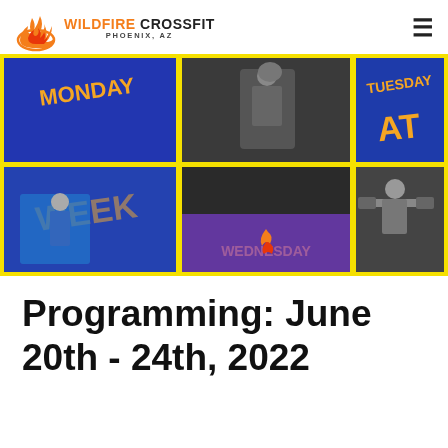WILDFIRE CROSSFIT PHOENIX, AZ
[Figure (photo): Collage of gym workout photos with orange and blue background showing days of the week labels: Monday, Tuesday, Wednesday, Week, At. Photos show athletes doing CrossFit exercises including overhead reaches, weightlifting, and barbell squats. Center shows a flame logo. Yellow border frames each panel.]
Programming: June 20th - 24th, 2022